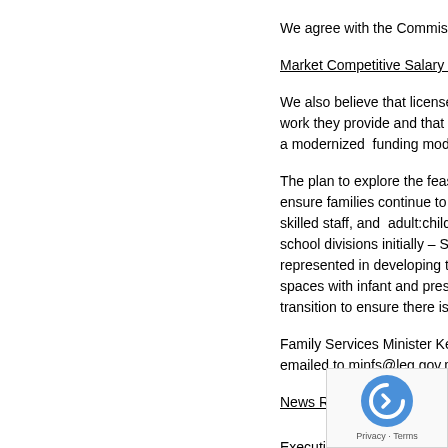We agree with the Commissio...
Market Competitive Salary Gu...
We also believe that licensed... work they provide and that m... a modernized funding model...
The plan to explore the feasib... ensure families continue to ha... skilled staff, and adult:child r... school divisions initially – Sei... represented in developing the... spaces with infant and presc... transition to ensure there is a...
Family Services Minister Kerr... emailed to minfs@leg.gov.mb...
News Release on Creating U...
Executive Summary of the Ma...
Final Report of th...